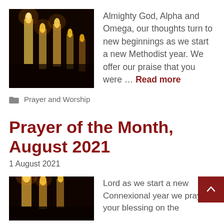[Figure (photo): Lit candles in dark background, warm golden flames]
Almighty God, Alpha and Omega, our thoughts turn to new beginnings as we start a new Methodist year. We offer our praise that you were … Read more
Prayer and Worship
Prayer of the Month, August 2021
1 August 2021
[Figure (photo): Lit candles in dark background, warm golden flames]
Lord as we start a new Connexional year we pray for your blessing on the